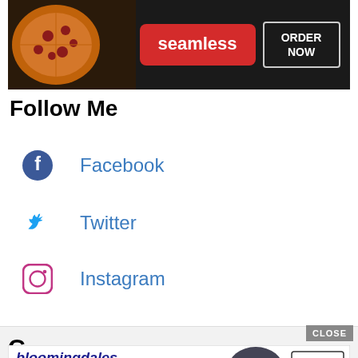[Figure (screenshot): Seamless food delivery advertisement banner with pizza image, red Seamless logo, and ORDER NOW button on dark background]
Follow Me
Facebook
Twitter
Instagram
[Figure (screenshot): Bloomingdale's advertisement banner: View Today's Top Deals! with woman in hat and SHOP NOW button. CLOSE button visible above.]
C